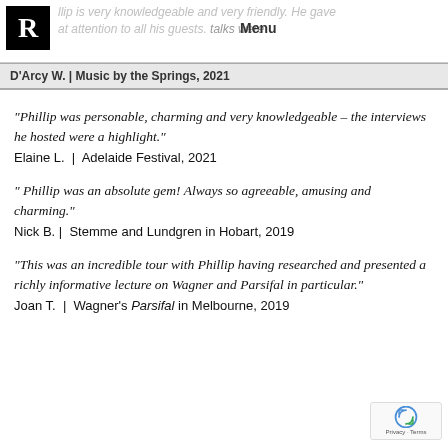Menu
D'Arcy W. | Music by the Springs, 2021
“Phillip was personable, charming and very knowledgeable – the interviews he hosted were a highlight.” Elaine L. | Adelaide Festival, 2021
“ Phillip was an absolute gem! Always so agreeable, amusing and charming.” Nick B. | Stemme and Lundgren in Hobart, 2019
“This was an incredible tour with Phillip having researched and presented a richly informative lecture on Wagner and Parsifal in particular.” Joan T. | Wagner’s Parsifal in Melbourne, 2019